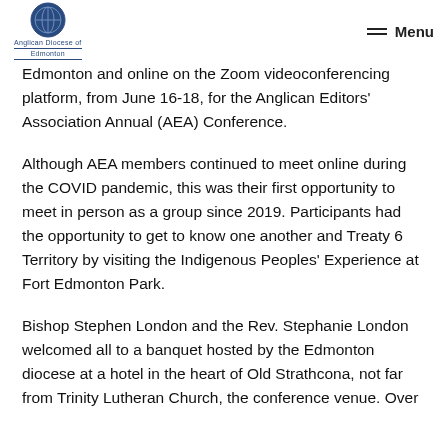Anglican Diocese of Edmonton | Menu
Edmonton and online on the Zoom videoconferencing platform, from June 16-18, for the Anglican Editors' Association Annual (AEA) Conference.
Although AEA members continued to meet online during the COVID pandemic, this was their first opportunity to meet in person as a group since 2019. Participants had the opportunity to get to know one another and Treaty 6 Territory by visiting the Indigenous Peoples' Experience at Fort Edmonton Park.
Bishop Stephen London and the Rev. Stephanie London welcomed all to a banquet hosted by the Edmonton diocese at a hotel in the heart of Old Strathcona, not far from Trinity Lutheran Church, the conference venue. Over